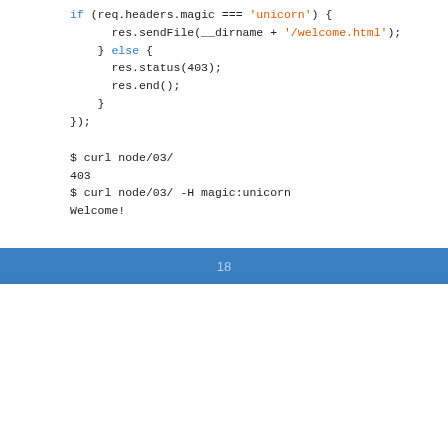if (req.headers.magic === 'unicorn') {
    res.sendFile(__dirname + '/welcome.html');
} else {
    res.status(403);
    res.end();
}
});
$ curl node/03/
403
$ curl node/03/ -H magic:unicorn
Welcome!
18
Ограничение доступа
location /03/ {
    access_by_lua_block {
        if ngx.var.http_magic ~= 'unicorn' then
            ngx.exit(ngx.HTTP_FORBIDDEN)
        end
    }

    try_files /welcome.html =404;
}